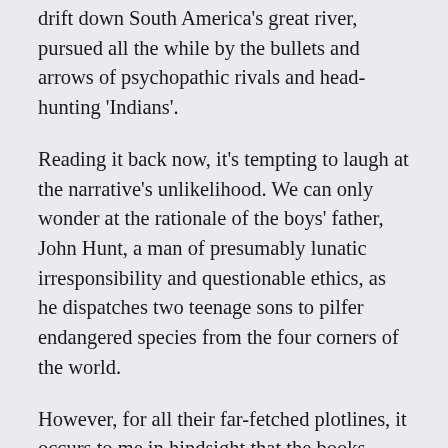drift down South America's great river, pursued all the while by the bullets and arrows of psychopathic rivals and head-hunting 'Indians'.
Reading it back now, it's tempting to laugh at the narrative's unlikelihood. We can only wonder at the rationale of the boys' father, John Hunt, a man of presumably lunatic irresponsibility and questionable ethics, as he dispatches two teenage sons to pilfer endangered species from the four corners of the world.
However, for all their far-fetched plotlines, it occurs to me in hindsight that the books encapsulated much about the life that I, a fatherless kid, easily bored, would grow to covet. The cinematic, event-filled life. The mythic, shadow father. Hal, the surrogate, surmounting every challenge. The boy, feigning courage. It was a pulp fiction allegory for my state of mind. On page 84 of Amazon Adventure: 'The truth is the kid was not about that...